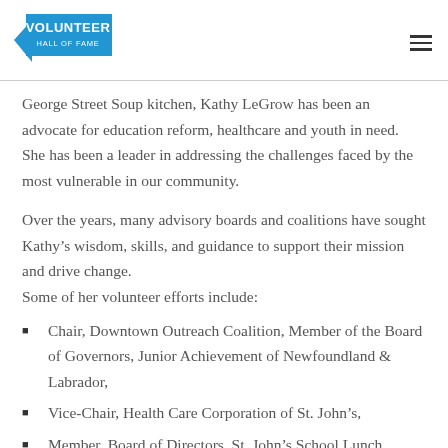Volunteer Hall of Fame
George Street Soup kitchen, Kathy LeGrow has been an advocate for education reform, healthcare and youth in need. She has been a leader in addressing the challenges faced by the most vulnerable in our community.
Over the years, many advisory boards and coalitions have sought Kathy’s wisdom, skills, and guidance to support their mission and drive change.
Some of her volunteer efforts include:
Chair, Downtown Outreach Coalition, Member of the Board of Governors, Junior Achievement of Newfoundland & Labrador,
Vice-Chair, Health Care Corporation of St. John’s,
Member, Board of Directors, St. John’s School Lunch